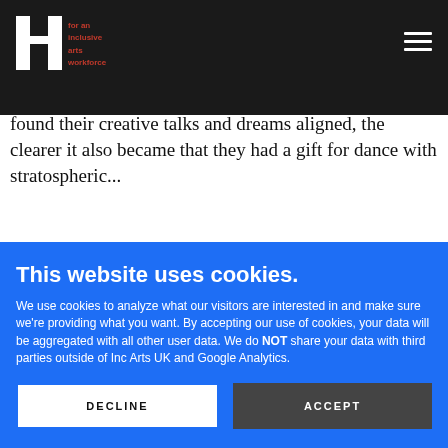Inc Arts - for an inclusive arts workforce
...with an interest in all things Michael Jackson and Bollywood, he stumbled upon contemporary dance in 2007 when he was dancing in a Kathak show along with dancer Aakash Odedra. As Aakash and Anand found their creative talks and dreams aligned, the clearer it also became that...
This website uses cookies.
We use cookies to analyze what our visitors are interested in and make sure we're providing what you want. By accepting our use of cookies, your data will be aggregated with all other user data. We do NOT share your data with third parties outside of Inc Arts UK and Google Analytics.
DECLINE
ACCEPT